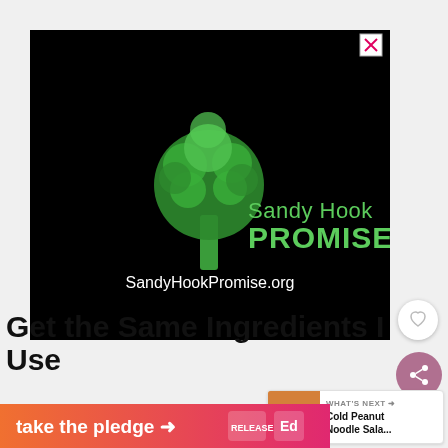[Figure (logo): Sandy Hook Promise advertisement on black background showing a green tree made of handprints with text 'Sandy Hook PROMISE' and website 'SandyHookPromise.org']
[Figure (screenshot): What's Next card thumbnail showing a bowl with food for 'Cold Peanut Noodle Sala...']
Get the Same Ingredients I Use
[Figure (infographic): Take the pledge banner - gradient orange to pink background with bold white text 'take the pledge →' and Release logo badges]